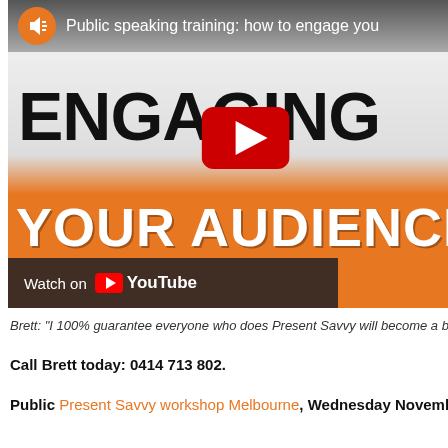[Figure (screenshot): YouTube video thumbnail for 'Public speaking training: how to engage your audience' showing large bold text ENGAGING YOUR AUDIENCE on orange and grey background with YouTube play button overlay and Watch on YouTube button]
Brett: "I 100% guarantee everyone who does Present Savvy will become a be...
Call Brett today: 0414 713 802.
Public Present Savvy workshop Melbourne, Wednesday November 11 2015...